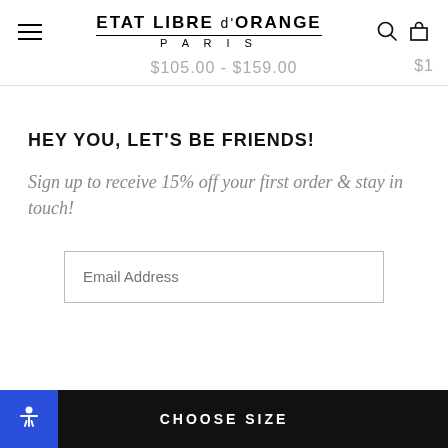ETAT LIBRE d'ORANGE PARIS
$105.00 - $159.00   $1
HEY YOU, LET'S BE FRIENDS!
Sign up to receive 15% off your first order & stay in touch!
Email Address
CHOOSE SIZE